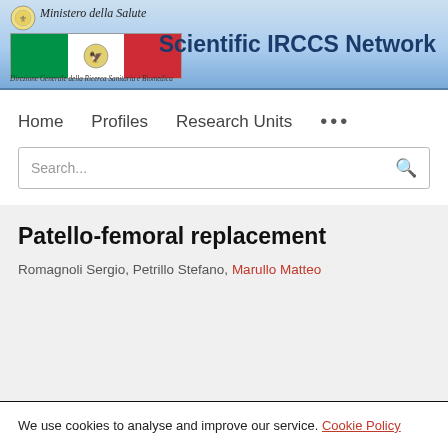Scientific IRCCS Network — Ministero della Salute / Direzione Generale della Ricerca Sanitaria e Biomedica
Home  Profiles  Research Units  ...
Search...
Patello-femoral replacement
Romagnoli Sergio, Petrillo Stefano, Marullo Matteo
We use cookies to analyse and improve our service. Cookie Policy